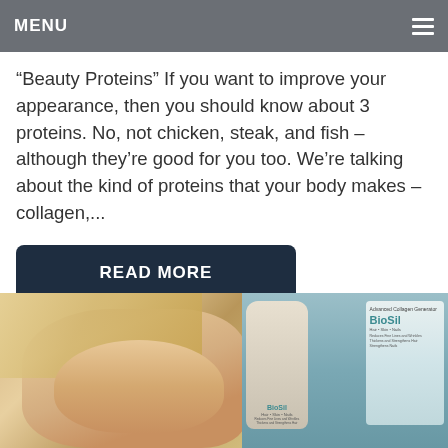MENU
“Beauty Proteins” If you want to improve your appearance, then you should know about 3 proteins. No, not chicken, steak, and fish – although they’re good for you too. We’re talking about the kind of proteins that your body makes – collagen,...
READ MORE
[Figure (photo): Photo of a smiling blonde woman alongside BioSil supplement product bottles and box packaging, with water and hills in background]